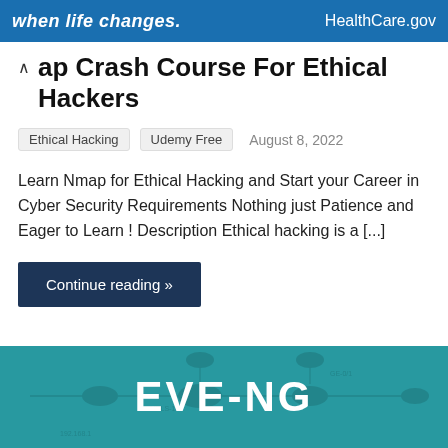[Figure (screenshot): HealthCare.gov banner ad with text 'when life changes.' in white italic bold on blue background, and 'HealthCare.gov' in white on the right]
ap Crash Course For Ethical Hackers
Ethical Hacking   Udemy Free   August 8, 2022
Learn Nmap for Ethical Hacking and Start your Career in Cyber Security Requirements Nothing just Patience and Eager to Learn ! Description Ethical hacking is a [...]
Continue reading »
[Figure (screenshot): Teal banner showing a network diagram and large white bold text 'EVE-NG']